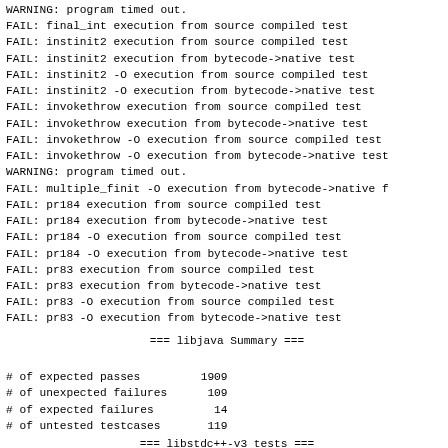WARNING: program timed out.
FAIL: final_int execution from source compiled test
FAIL: instinit2 execution from source compiled test
FAIL: instinit2 execution from bytecode->native test
FAIL: instinit2 -O execution from source compiled test
FAIL: instinit2 -O execution from bytecode->native test
FAIL: invokethrow execution from source compiled test
FAIL: invokethrow execution from bytecode->native test
FAIL: invokethrow -O execution from source compiled test
FAIL: invokethrow -O execution from bytecode->native test
WARNING: program timed out.
FAIL: multiple_finit -O execution from bytecode->native f
FAIL: pr184 execution from source compiled test
FAIL: pr184 execution from bytecode->native test
FAIL: pr184 -O execution from source compiled test
FAIL: pr184 -O execution from bytecode->native test
FAIL: pr83 execution from source compiled test
FAIL: pr83 execution from bytecode->native test
FAIL: pr83 -O execution from source compiled test
FAIL: pr83 -O execution from bytecode->native test
=== libjava Summary ===
# of expected passes         1909
# of unexpected failures      109
# of expected failures         14
# of untested testcases       119
=== libstdc++-v3 tests ===